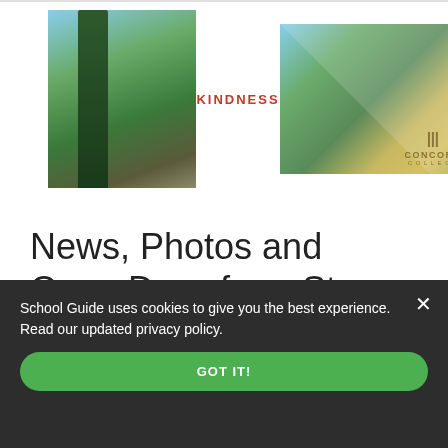[Figure (photo): Advertisement banner with two photos: left photo shows a tall conifer tree and garden path, center text says KINDNESS in red, right photo shows an English garden with urn and Concord College logo overlay]
News, Photos and Open Days from St Luke's Church of England School
School Guide uses cookies to give you the best experience. Read our updated privacy policy.